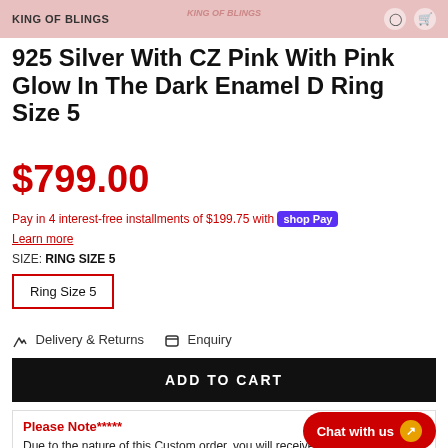KING OF BLINGS
925 Silver With CZ Pink With Pink Glow In The Dark Enamel D Ring Size 5
$799.00
Pay in 4 interest-free installments of $199.75 with shop Pay
Learn more
SIZE: RING SIZE 5
Ring Size 5
Delivery & Returns
Enquiry
ADD TO CART
Please Note*****
Due to the nature of this Custom order, you will receive your unique pendant necklace within 3 to 4 weeks.*